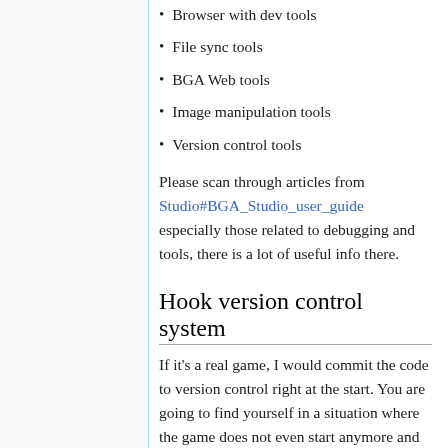Browser with dev tools
File sync tools
BGA Web tools
Image manipulation tools
Version control tools
Please scan through articles from Studio#BGA_Studio_user_guide especially those related to debugging and tools, there is a lot of useful info there.
Hook version control system
If it's a real game, I would commit the code to version control right at the start. You are going to find yourself in a situation where the game does not even start anymore and there is no way of debugging it unless you have a way to revert. That is where version control